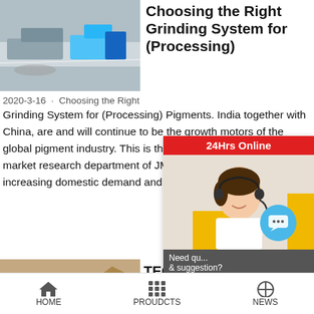[Figure (photo): Aerial view of industrial grinding/crushing equipment at a mining site with blue machinery]
Choosing the Right Grinding System for (Processing)
2020-3-16 · Choosing the Right Grinding System for (Processing) Pigments. India together with China, are and will continue to be the growth motors of the global pigment industry. This is the conclusion of a study by the market research department of JM Financial. India is also increasing domestic demand and export volume.
[Figure (photo): Industrial ore/rock conveyor belt and processing equipment at a mining site]
TECHNICAL M... GRINDING R...
2009-7-30 · 8-3 C...
[Figure (other): 24Hrs Online customer service overlay panel with agent photo, chat bubble, Need question & suggestion, Chat Now button, Enquiry, limingjlmofen branding]
HOME  PROUDCTS  NEWS